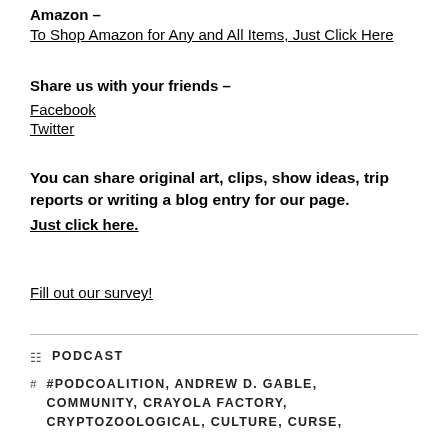Amazon –
To Shop Amazon for Any and All Items, Just Click Here
Share us with your friends –
Facebook
Twitter
You can share original art, clips, show ideas, trip reports or writing a blog entry for our page.
Just click here.
Fill out our survey!
PODCAST
#PODCOALITION, ANDREW D. GABLE, COMMUNITY, CRAYOLA FACTORY, CRYPTOZOOLOGICAL, CULTURE, CURSE,